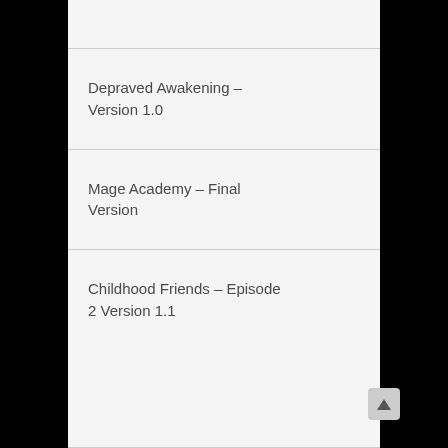Depraved Awakening – Version 1.0
Mage Academy – Final Version
Childhood Friends – Episode 2 Version 1.1